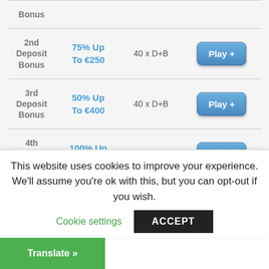| Bonus | Amount | Wagering | Action |
| --- | --- | --- | --- |
| 2nd Deposit Bonus | 75% Up To €250 | 40 x D+B | Play + |
| 3rd Deposit Bonus | 50% Up To €400 | 40 x D+B | Play + |
| 4th Deposit Bonus | 100% Up To €225 | 40 x D+B | Play + |
* You Are Aware Of The Terms !! of any bonus before you accept bonus.
This website uses cookies to improve your experience. We'll assume you're ok with this, but you can opt-out if you wish.
Cookie settings
ACCEPT
Translate »